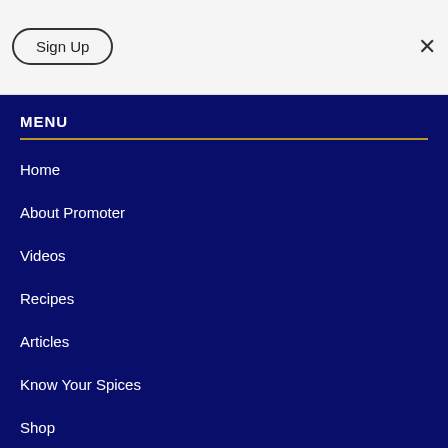Sign Up
MENU
Home
About Promoter
Videos
Recipes
Articles
Know Your Spices
Shop
Contact